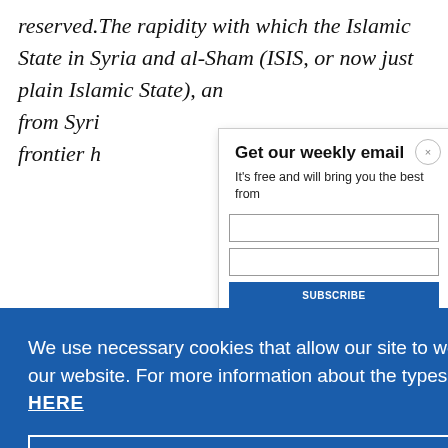reserved.The rapidity with which the Islamic State in Syria and al-Sham (ISIS, or now just plain Islamic State), an from Syri frontier h
[Figure (screenshot): Email signup modal overlay with title 'Get our weekly email', subtitle 'It’s free and will bring you the best from', close button (x), input fields, and a blue subscribe button. Partially overlaps the article text.]
[Figure (screenshot): Cookie consent banner with blue background. Text: 'We use necessary cookies that allow our site to work. We also set optional cookies that help us improve our website. For more information about the types of cookies we use. READ OUR COOKIES POLICY HERE'. Two buttons: 'COOKIE SETTINGS' and 'ALLOW ALL COOKIES'.]
captured